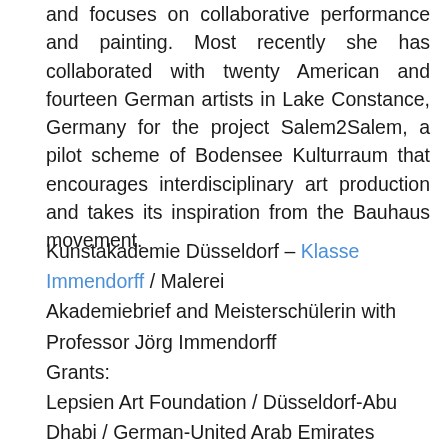and focuses on collaborative performance and painting. Most recently she has collaborated with twenty American and fourteen German artists in Lake Constance, Germany for the project Salem2Salem, a pilot scheme of Bodensee Kulturraum that encourages interdisciplinary art production and takes its inspiration from the Bauhaus movement.
Kunstakademie Düsseldorf – Klasse Immendorff / Malerei
Akademiebrief and Meisterschülerin with Professor Jörg Immendorff
Grants:
Lepsien Art Foundation / Düsseldorf-Abu Dhabi / German-United Arab Emirates